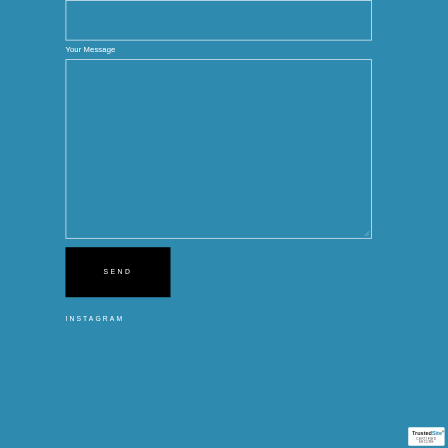[Figure (screenshot): A text input field (empty) with white border on teal/blue background]
Your Message
[Figure (screenshot): A large textarea field (empty) with white border on teal/blue background, resize handle at bottom-right]
[Figure (other): A black rectangular SEND button with white letter-spaced text reading SEND]
INSTAGRAM
[Figure (logo): TrustedSite Certified Secure badge — white background, green checkmark, TrustedSite in bold, CERTIFIED SECURE text below]